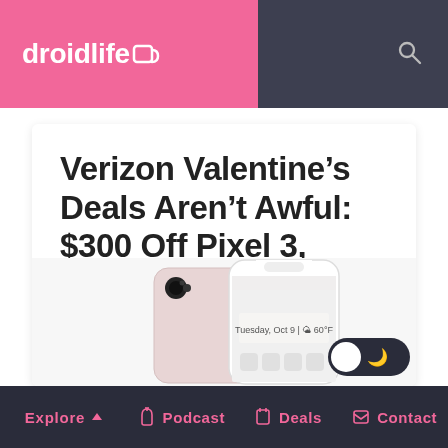droidlife
Verizon Valentine’s Deals Aren’t Awful: $300 Off Pixel 3, BOGO Samsung (Updated)
Kellen
February 7, 2019
Share  f 23  🐦 0  reddit
[Figure (photo): Google Pixel 3 phone shown from front and back, pink/white color]
Explore  Podcast  Deals  Contact